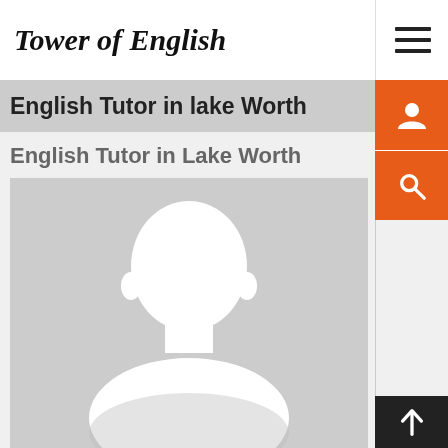Tower of English
English Tutor in lake Worth
English Tutor in Lake Worth
[Figure (photo): Default avatar silhouette placeholder image — white head/shoulders shape on light gray background]